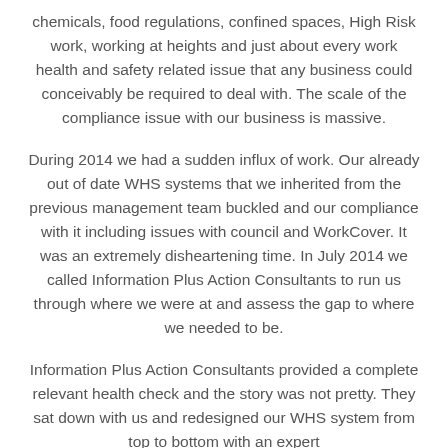chemicals, food regulations, confined spaces, High Risk work, working at heights and just about every work health and safety related issue that any business could conceivably be required to deal with. The scale of the compliance issue with our business is massive.
During 2014 we had a sudden influx of work. Our already out of date WHS systems that we inherited from the previous management team buckled and our compliance with it including issues with council and WorkCover. It was an extremely disheartening time. In July 2014 we called Information Plus Action Consultants to run us through where we were at and assess the gap to where we needed to be.
Information Plus Action Consultants provided a complete relevant health check and the story was not pretty. They sat down with us and redesigned our WHS system from top to bottom with an expert